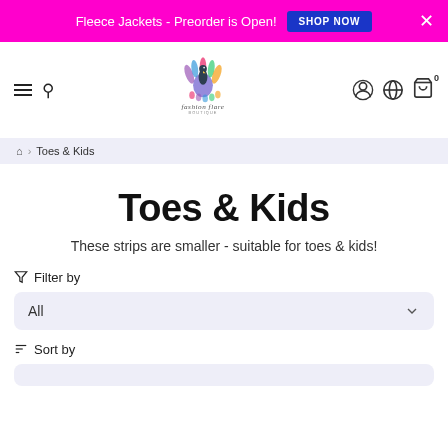Fleece Jackets - Preorder is Open! SHOP NOW ×
[Figure (logo): Fashion Flare Boutique logo with peacock feather design]
⌂ > Toes & Kids
Toes & Kids
These strips are smaller - suitable for toes & kids!
Filter by — All (dropdown)
Sort by